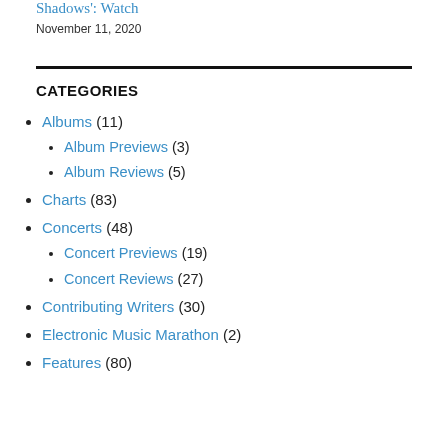Shadows': Watch
November 11, 2020
CATEGORIES
Albums (11)
Album Previews (3)
Album Reviews (5)
Charts (83)
Concerts (48)
Concert Previews (19)
Concert Reviews (27)
Contributing Writers (30)
Electronic Music Marathon (2)
Features (80)